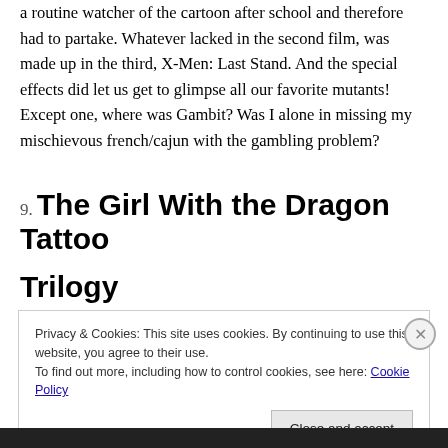a routine watcher of the cartoon after school and therefore had to partake. Whatever lacked in the second film, was made up in the third, X-Men: Last Stand. And the special effects did let us get to glimpse all our favorite mutants! Except one, where was Gambit? Was I alone in missing my mischievous french/cajun with the gambling problem?
9. The Girl With the Dragon Tattoo Trilogy
Privacy & Cookies: This site uses cookies. By continuing to use this website, you agree to their use.
To find out more, including how to control cookies, see here: Cookie Policy